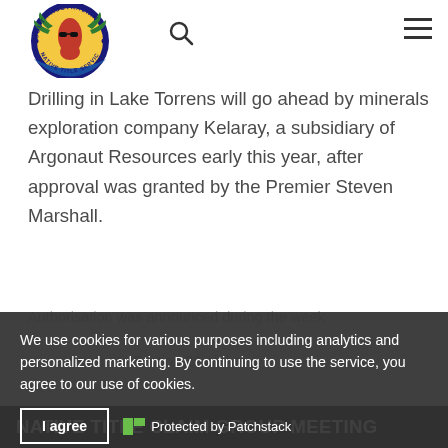[Figure (logo): South Australian Native Title Services circular logo with indigenous artwork]
Drilling in Lake Torrens will go ahead by minerals exploration company Kelaray, a subsidiary of Argonaut Resources early this year, after approval was granted by the Premier Steven Marshall.
Authorisation was announced during the week ...authority pursuant to Section 23 of the ...
We use cookies for various purposes including analytics and personalized marketing. By continuing to use the service, you agree to our use of cookies.
I agree   Protected by Patchstack
NATIVE TITLE CLAIM GROUP MEETING